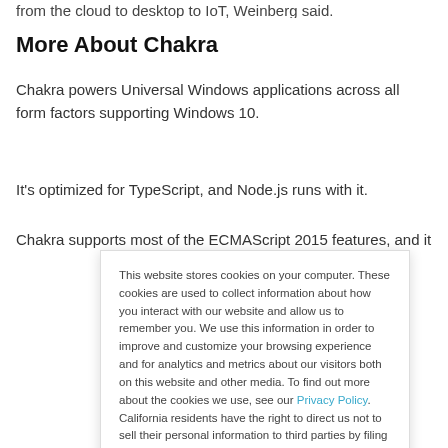from the cloud to desktop to IoT, Weinberg said.
More About Chakra
Chakra powers Universal Windows applications across all form factors supporting Windows 10.
It's optimized for TypeScript, and Node.js runs with it.
Chakra supports most of the ECMAScript 2015 features, and it
This website stores cookies on your computer. These cookies are used to collect information about how you interact with our website and allow us to remember you. We use this information in order to improve and customize your browsing experience and for analytics and metrics about our visitors both on this website and other media. To find out more about the cookies we use, see our Privacy Policy. California residents have the right to direct us not to sell their personal information to third parties by filing an Opt-Out Request: Do Not Sell My Personal Info.
Accept